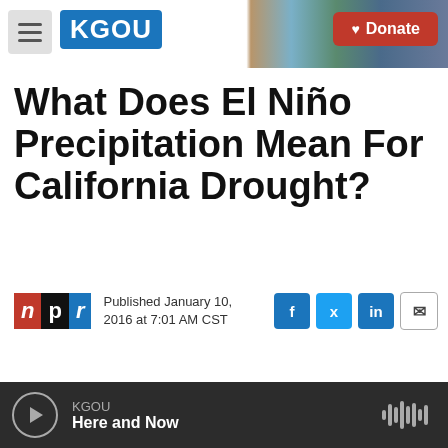KGOU | Donate
What Does El Niño Precipitation Mean For California Drought?
Published January 10, 2016 at 7:01 AM CST
LISTEN • 2:47
KGOU Here and Now